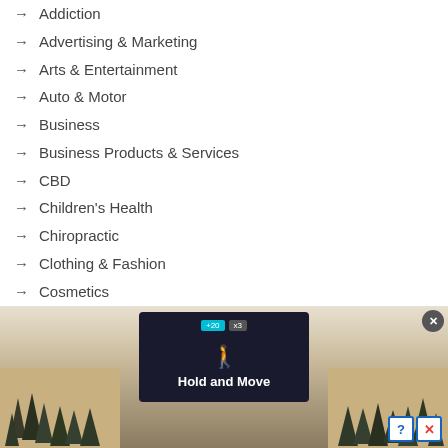Addiction
Advertising & Marketing
Arts & Entertainment
Auto & Motor
Business
Business Products & Services
CBD
Children's Health
Chiropractic
Clothing & Fashion
Cosmetics
Dental Health
Employment
Financial
Food and Drink
Foods & Culinary
[Figure (screenshot): Advertisement banner showing a winter outdoor scene with trees, a dark device screen displaying 'Hold and Move' text with a blue icon, close button (X) in top right, and help/close icons in bottom right corner.]